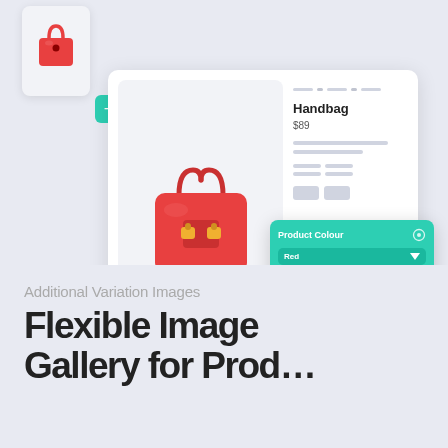[Figure (screenshot): Illustration of a WooCommerce/ecommerce product page UI showing a red handbag product listing with 'Handbag' title, '$89' price, a 'Product Colour' dropdown set to 'Red', thumbnail images, and floating UI elements including handbag icons and '+' add buttons.]
Additional Variation Images
Flexible Image Gallery for Product...